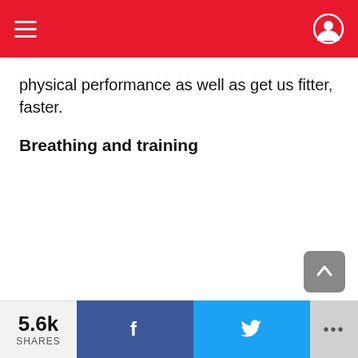Navigation bar with hamburger menu, dark mode toggle, and user profile icon
physical performance as well as get us fitter, faster.
Breathing and training
5.6k SHARES — Facebook share button, Twitter share button, more options (•••)